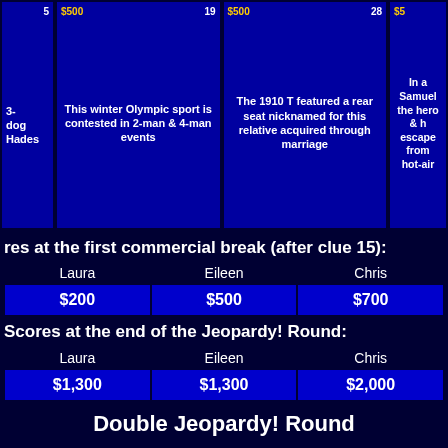[Figure (other): Jeopardy game board partial view showing clue cells. Cell 1 (partial): number 5, text '3- dog Hades'. Cell 2: $500, clue 19, 'This winter Olympic sport is contested in 2-man & 4-man events'. Cell 3: $500, clue 28, 'The 1910 T featured a rear seat nicknamed for this relative acquired through marriage'. Cell 4 (partial): $5, 'In a Samuel the hero & h escape from hot-air'.]
res at the first commercial break (after clue 15):
| Laura | Eileen | Chris |
| --- | --- | --- |
| $200 | $500 | $700 |
Scores at the end of the Jeopardy! Round:
| Laura | Eileen | Chris |
| --- | --- | --- |
| $1,300 | $1,300 | $2,000 |
Double Jeopardy! Round